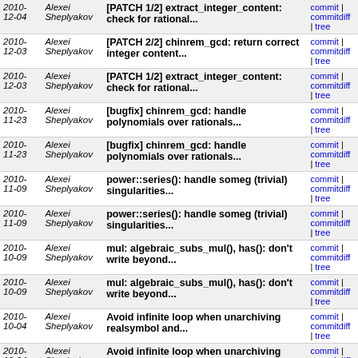| Date | Author | Message | Links |
| --- | --- | --- | --- |
| 2010-12-04 | Alexei Sheplyakov | [PATCH 1/2] extract_integer_content: check for rational... | commit | commitdiff | tree |
| 2010-12-03 | Alexei Sheplyakov | [PATCH 2/2] chinrem_gcd: return correct integer content... | commit | commitdiff | tree |
| 2010-12-03 | Alexei Sheplyakov | [PATCH 1/2] extract_integer_content: check for rational... | commit | commitdiff | tree |
| 2010-11-23 | Alexei Sheplyakov | [bugfix] chinrem_gcd: handle polynomials over rationals... | commit | commitdiff | tree |
| 2010-11-23 | Alexei Sheplyakov | [bugfix] chinrem_gcd: handle polynomials over rationals... | commit | commitdiff | tree |
| 2010-11-09 | Alexei Sheplyakov | power::series(): handle someg (trivial) singularities... | commit | commitdiff | tree |
| 2010-11-09 | Alexei Sheplyakov | power::series(): handle someg (trivial) singularities... | commit | commitdiff | tree |
| 2010-10-09 | Alexei Sheplyakov | mul: algebraic_subs_mul(), has(): don't write beyond... | commit | commitdiff | tree |
| 2010-10-09 | Alexei Sheplyakov | mul: algebraic_subs_mul(), has(): don't write beyond... | commit | commitdiff | tree |
| 2010-10-04 | Alexei Sheplyakov | Avoid infinite loop when unarchiving realsymbol and... | commit | commitdiff | tree |
| 2010-10-04 | Alexei Sheplyakov | Avoid infinite loop when unarchiving realsymbol and... | commit | commitdiff | tree |
| 2010-08-23 | Alexei Sheplyakov | power::eval(): fix several memory leaks | commit | commitdiff | tree |
| 2010-08-23 | Alexei Sheplyakov | fsolve: avoid useless numerical evaluation of the function | commit | commitdiff | tree |